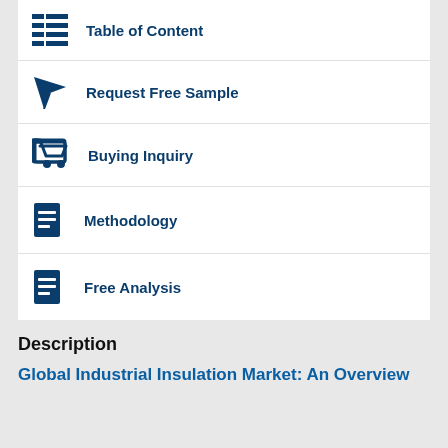Table of Content
Request Free Sample
Buying Inquiry
Methodology
Free Analysis
Description
Global Industrial Insulation Market: An Overview